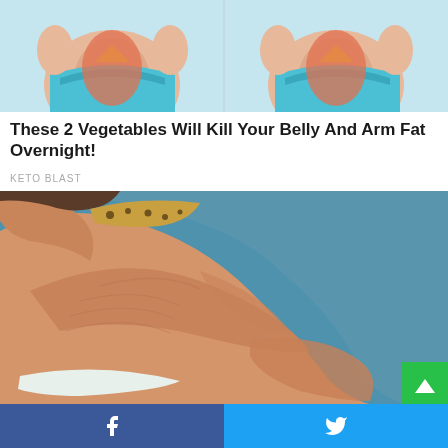[Figure (illustration): Illustrated cartoon of two female torsos in bikinis showing belly fat areas, side by side on a light blue background]
These 2 Vegetables Will Kill Your Belly And Arm Fat Overnight!
KETO BLAST
[Figure (photo): Side view photo of a person showing excess belly and back fat, wearing a light-colored bra strap, on a blue background]
Facebook share button and Twitter share button at bottom of page